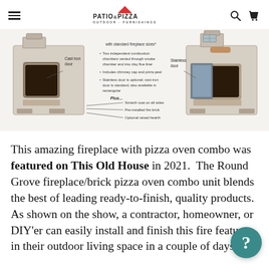Patio & Pizza Outdoor Furnishings
[Figure (illustration): Diagram of a fireplace with pizza oven combo showing two masonry units side by side. Left unit labeled with 'Cast iron door', bullet points listing: 'with standard fireplace sizes*', 'Two independent combustion chambers vented through smoke chamber and into clay flue liner', 'Includes chimney cap and pizza peel', 'Stainless door is optional; cast iron door is standard; also available in rectangular'. Bold text 'Plus...' with lines pointing to: 'Scratch coat on all sides', 'Pre-installed fire brick', 'Optional raised hearth'. Right unit labeled 'Stainless door'.]
This amazing fireplace with pizza oven combo was featured on This Old House in 2021. The Round Grove fireplace/brick pizza oven combo unit blends the best of leading ready-to-finish, quality products. As shown on the show, a contractor, homeowner, or DIY'er can easily install and finish this fire feature in their outdoor living space in a couple of days.